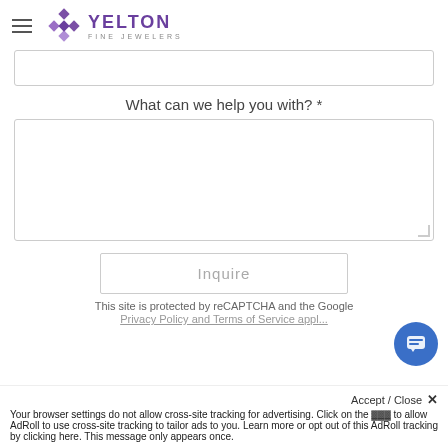Yelton Fine Jewelers
[Figure (screenshot): Text input field (top portion visible)]
What can we help you with? *
[Figure (screenshot): Large textarea input field for message]
Inquire
This site is protected by reCAPTCHA and the Google
Privacy Policy and Terms of Service appl...
Accept / Close ×
Your browser settings do not allow cross-site tracking for advertising. Click on the ... to allow AdRoll to use cross-site tracking to tailor ads to you. Learn more or opt out of this AdRoll tracking by clicking here. This message only appears once.